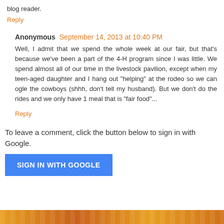blog reader.
Reply
Anonymous  September 14, 2013 at 10:40 PM
Well, I admit that we spend the whole week at our fair, but that's because we've been a part of the 4-H program since I was little. We spend almost all of our time in the livestock pavilion, except when my teen-aged daughter and I hang out "helping" at the rodeo so we can ogle the cowboys (shhh, don't tell my husband). But we don't do the rides and we only have 1 meal that is "fair food"...
Reply
To leave a comment, click the button below to sign in with Google.
[Figure (other): Blue 'SIGN IN WITH GOOGLE' button]